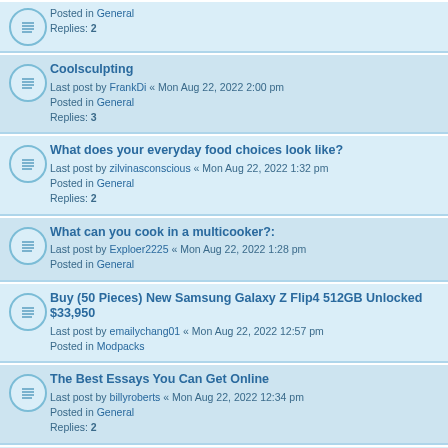Posted in General
Replies: 2
Coolsculpting
Last post by FrankDi « Mon Aug 22, 2022 2:00 pm
Posted in General
Replies: 3
What does your everyday food choices look like?
Last post by zilvinasconscious « Mon Aug 22, 2022 1:32 pm
Posted in General
Replies: 2
What can you cook in a multicooker?:
Last post by Exploer2225 « Mon Aug 22, 2022 1:28 pm
Posted in General
Buy (50 Pieces) New Samsung Galaxy Z Flip4 512GB Unlocked $33,950
Last post by emailychang01 « Mon Aug 22, 2022 12:57 pm
Posted in Modpacks
The Best Essays You Can Get Online
Last post by billyroberts « Mon Aug 22, 2022 12:34 pm
Posted in General
Replies: 2
Looking for the best casinos in India.
Last post by Qiozla « Mon Aug 22, 2022 12:22 pm
Posted in Troubleshooting
Replies: 1
A negociação é lucrativa?
Last post by HarryJohnson « Mon Aug 22, 2022 12:20 pm
Posted in General
Replies: 1